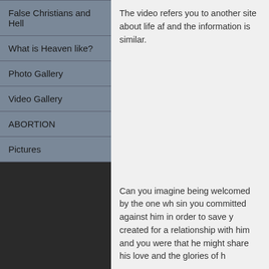False Christians and Hell
What is Heaven like?
Photo Gallery
Video Gallery
ABORTION
Pictures
The video refers you to another site about life af and the information is similar.
Can you imagine being welcomed by the one wh sin you committed against him in order to save y created for a relationship with him and you were that he might share his love and the glories of h